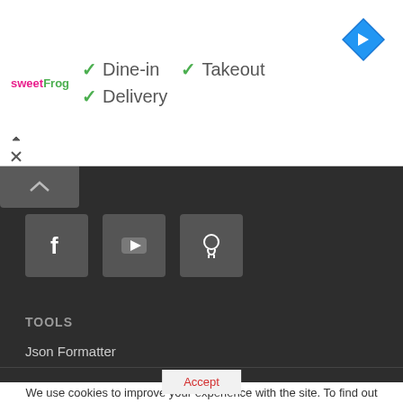[Figure (screenshot): sweetFrog logo in pink and green text]
✓ Dine-in   ✓ Takeout
✓ Delivery
[Figure (logo): Google Maps navigation diamond icon in blue]
[Figure (infographic): Dark panel with expand chevron, social media icons: Facebook, YouTube, GitHub]
TOOLS
Json Formatter
We use cookies to improve your experience with the site. To find out more, you can read the full Privacy & Policy
Accept